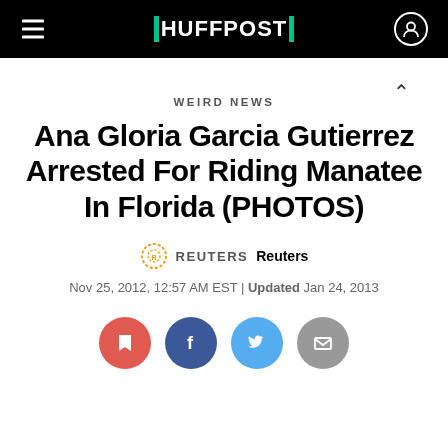HUFFPOST
WEIRD NEWS
Ana Gloria Garcia Gutierrez Arrested For Riding Manatee In Florida (PHOTOS)
REUTERS  Reuters
Nov 25, 2012, 12:57 AM EST | Updated Jan 24, 2013
[Figure (other): Social share buttons: save, Facebook, Twitter, email]